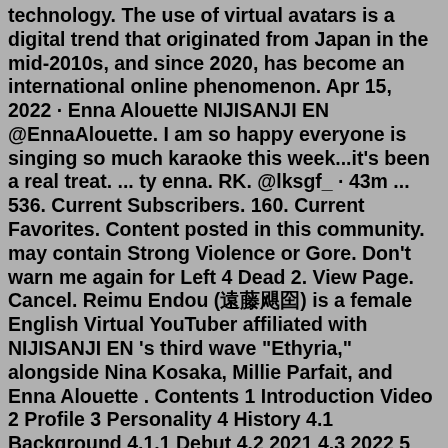technology. The use of virtual avatars is a digital trend that originated from Japan in the mid-2010s, and since 2020, has become an international online phenomenon. Apr 15, 2022 · Enna Alouette NIJISANJI EN @EnnaAlouette. I am so happy everyone is singing so much karaoke this week...it's been a real treat. ... ty enna. RK. @lksgf_ · 43m ... 536. Current Subscribers. 160. Current Favorites. Content posted in this community. may contain Strong Violence or Gore. Don't warn me again for Left 4 Dead 2. View Page. Cancel. Reimu Endou (遠藤霊夢) is a female English Virtual YouTuber affiliated with NIJISANJI EN 's third wave "Ethyria," alongside Nina Kosaka, Millie Parfait, and Enna Alouette . Contents 1 Introduction Video 2 Profile 3 Personality 4 History 4.1 Background 4.1.1 Debut 4.2 2021 4.3 2022 5 Discography 6 Relationships 7 Events 8 Mascot and Fans 9 TriviaIn this video, Moral Truth reacts to Identity/アイデンティティ by Kanaria, covered by Millie Parfait and Enna Parfait from NIJISANJI EN's Ethyria! This is their firs...In the PC-98 game